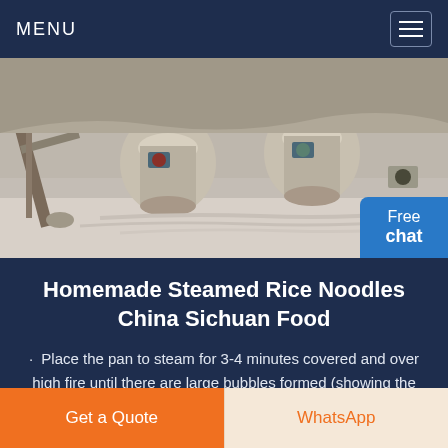MENU
[Figure (photo): Industrial machinery with large mechanical equipment, stone-cutting or mining machines on a flat surface outdoors]
Homemade Steamed Rice Noodles China Sichuan Food
Place the pan to steam for 3-4 minutes covered and over high fire until there are large bubbles formed (showing the noodles are well steamed). Transfer out and place in cold water for cooling a...